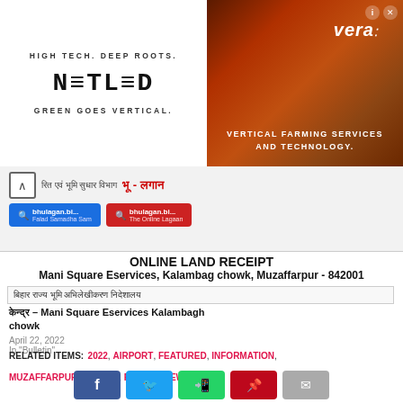[Figure (logo): NETLED advertisement: HIGH TECH. DEEP ROOTS. NETLED GREEN GOES VERTICAL.]
[Figure (photo): Vera vertical farming services and technology advertisement with colorful background]
[Figure (screenshot): Hindi language navigation overlay with search buttons in blue and red]
ONLINE LAND RECEIPT
Mani Square Eservices, Kalambag chowk, Muzaffarpur - 842001
Hindi text (land receipt related information)
Hindi – Mani Square Eservices Kalambagh chowk
April 22, 2022
In "Bulletin"
RELATED ITEMS: 2022, AIRPORT, FEATURED, INFORMATION, MUZAFFARPUR, PEOPLE, RECENT NEWS